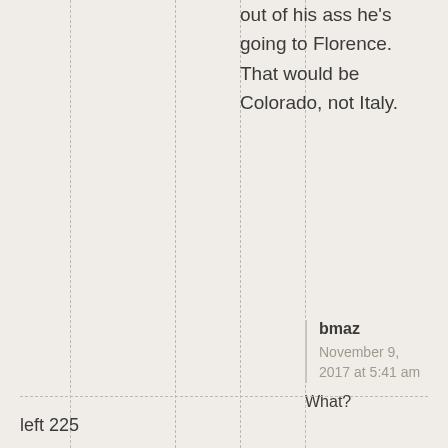out of his ass he's going to Florence.  That would be Colorado, not Italy.
bmaz
November 9, 2017 at 5:41 am

What?
left 225